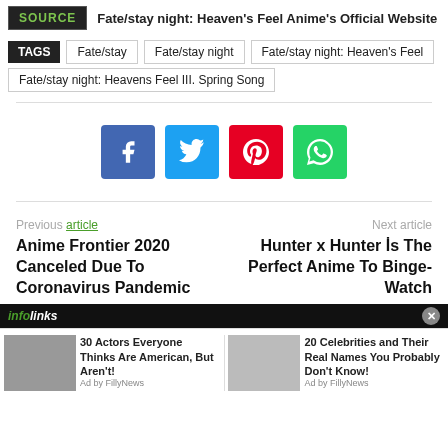SOURCE | Fate/stay night: Heaven's Feel Anime's Official Website
TAGS: Fate/stay | Fate/stay night | Fate/stay night: Heaven's Feel | Fate/stay night: Heavens Feel III. Spring Song
[Figure (infographic): Social sharing buttons: Facebook (blue), Twitter (cyan), Pinterest (red), WhatsApp (green)]
Previous article | Next article
Anime Frontier 2020 Canceled Due To Coronavirus Pandemic
Hunter x Hunter İs The Perfect Anime To Binge-Watch
[Figure (infographic): Infolinks ad banner with two ad cards: '30 Actors Everyone Thinks Are American, But Aren't! Ad by FillyNews' and '20 Celebrities and Their Real Names You Probably Don't Know! Ad by FillyNews']